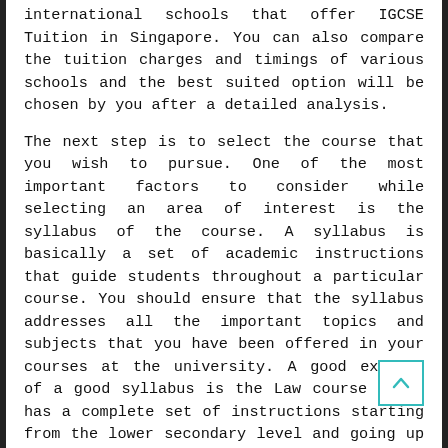international schools that offer IGCSE Tuition in Singapore. You can also compare the tuition charges and timings of various schools and the best suited option will be chosen by you after a detailed analysis.
The next step is to select the course that you wish to pursue. One of the most important factors to consider while selecting an area of interest is the syllabus of the course. A syllabus is basically a set of academic instructions that guide students throughout a particular course. You should ensure that the syllabus addresses all the important topics and subjects that you have been offered in your courses at the university. A good example of a good syllabus is the Law course which has a complete set of instructions starting from the lower secondary level and going up to the upper secondary level. The course is one of the easiest courses to complete and if you have completed any other lower secondary